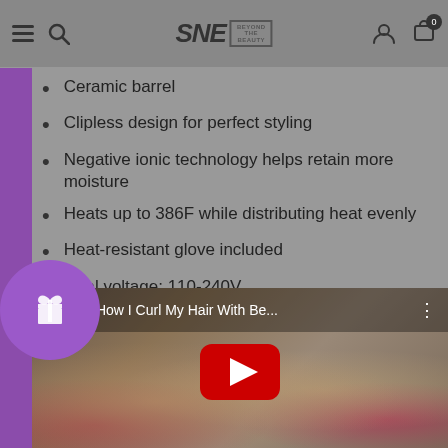SNE by BEYOND THE BEAUTY — navigation bar with menu, search, logo, account, cart (0)
Ceramic barrel
Clipless design for perfect styling
Negative ionic technology helps retain more moisture
Heats up to 386F while distributing heat evenly
Heat-resistant glove included
Dual voltage: 110-240V
[Figure (screenshot): YouTube video thumbnail showing a woman with curly blonde hair, with a red play button overlay. Video title: Tutorial: How I Curl My Hair With Be...]